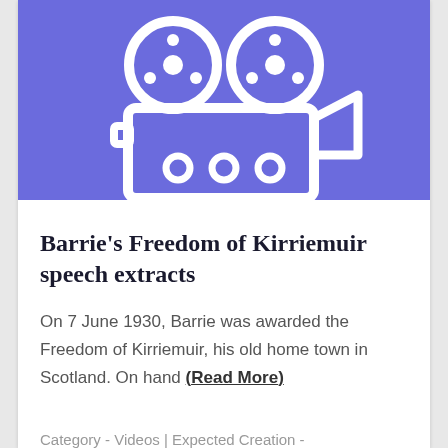[Figure (illustration): White film camera icon on a purple/blue background]
Barrie's Freedom of Kirriemuir speech extracts
On 7 June 1930, Barrie was awarded the Freedom of Kirriemuir, his old home town in Scotland. On hand (Read More)
Category - Videos | Expected Creation -